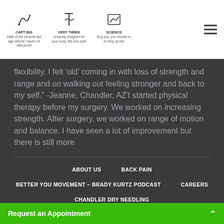[Figure (logo): Three icon blocks with small illustrations and captions: CAPT BIG (icon of figure), VERY THREE (icon of figure), SCIENCE (icon of chart). Each has a brief tagline.]
flexibility. I felt 'old' coming in with loss of strength and range and on walking out feeling stronger and back to my self." -Jeanne, Chandler, AZ'I started physical therapy before my surgery. We worked on increasing strength. After surgery, we worked on range of motion and balance. I have seen a lot of improvement but there is still more
ABOUT US
BACK PAIN
BETTER YOU MOVEMENT – BRADY KURTZ PODCAST
CAREERS
CHANDLER DRY NEEDLING
Request an Appointment